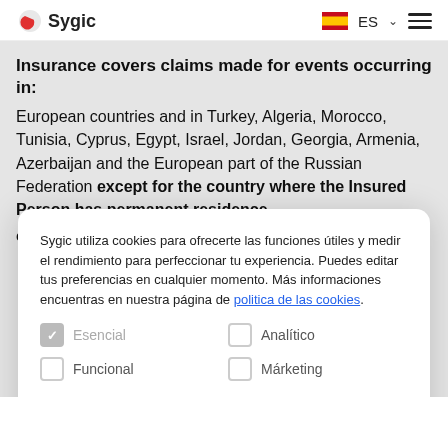Sygic | ES
Insurance covers claims made for events occurring in:
European countries and in Turkey, Algeria, Morocco, Tunisia, Cyprus, Egypt, Israel, Jordan, Georgia, Armenia, Azerbaijan and the European part of the Russian Federation except for the country where the Insured Person has permanent residence
Sygic utiliza cookies para ofrecerte las funciones útiles y medir el rendimiento para perfeccionar tu experiencia. Puedes editar tus preferencias en cualquier momento. Más informaciones encuentras en nuestra página de politica de las cookies.
Esencial (checked)
Analítico
Funcional
Márketing
Aceptar todas | Rechazar todas